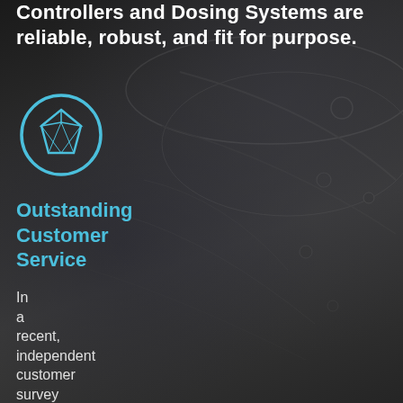Controllers and Dosing Systems are reliable, robust, and fit for purpose.
[Figure (illustration): Cyan circle icon containing a diamond/gem shape, representing quality or outstanding service]
Outstanding Customer Service
In a recent, independent customer survey 100% of our clients said they would